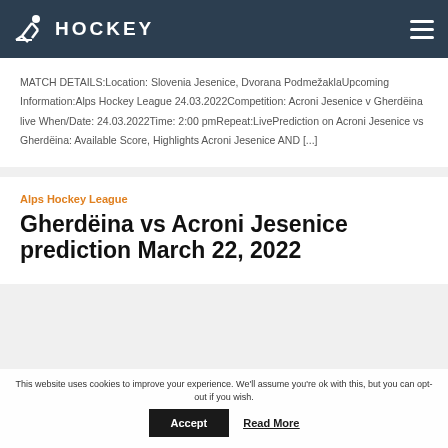HOCKEY
MATCH DETAILS:Location: Slovenia Jesenice, Dvorana PodmežaklaUpcoming Information:Alps Hockey League 24.03.2022Competition: Acroni Jesenice v Gherdëina live When/Date: 24.03.2022Time: 2:00 pmRepeat:LivePrediction on Acroni Jesenice vs Gherdëina: Available Score, Highlights Acroni Jesenice AND [...]
Alps Hockey League
Gherdëina vs Acroni Jesenice prediction March 22, 2022
This website uses cookies to improve your experience. We'll assume you're ok with this, but you can opt-out if you wish.